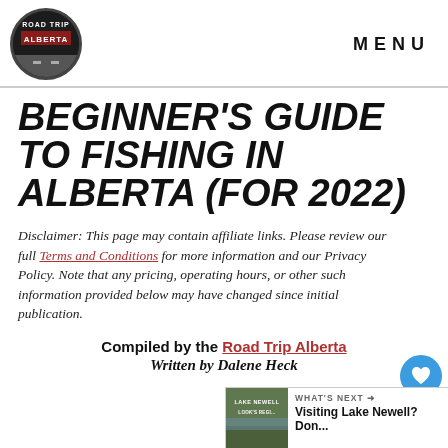Road Trip Alberta | MENU
BEGINNER'S GUIDE TO FISHING IN ALBERTA (FOR 2022)
Disclaimer: This page may contain affiliate links. Please review our full Terms and Conditions for more information and our Privacy Policy. Note that any pricing, operating hours, or other such information provided below may have changed since initial publication.
Compiled by the Road Trip Alberta Team
Written by Dalene Heck
[Figure (other): What's Next thumbnail showing Lake Newell visit guide]